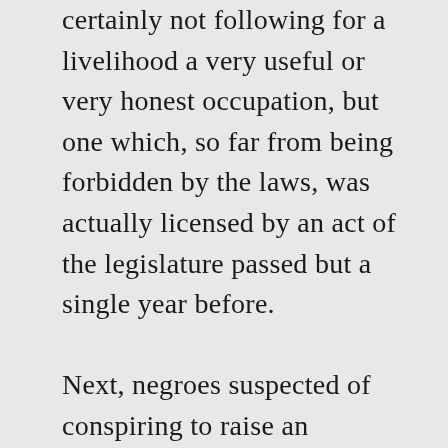certainly not following for a livelihood a very useful or very honest occupation, but one which, so far from being forbidden by the laws, was actually licensed by an act of the legislature passed but a single year before.

Next, negroes suspected of conspiring to raise an insurrection were caught up and hanged in all parts of the State;